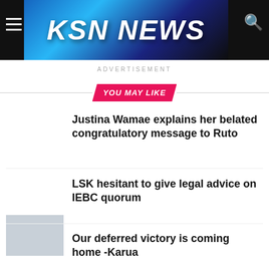[Figure (screenshot): KSN News website header with logo on blue/dark gradient background, hamburger menu on left, search icon on right]
ADVERTISEMENT
YOU MAY LIKE
Justina Wamae explains her belated congratulatory message to Ruto
LSK hesitant to give legal advice on IEBC quorum
Our deferred victory is coming home -Karua
Postmortem reveals cause of IEBC officer's